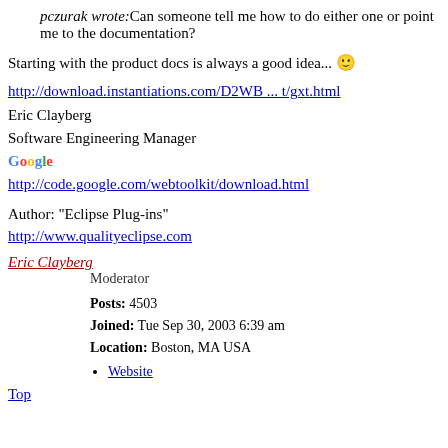pczurak wrote: Can someone tell me how to do either one or point me to the documentation?
Starting with the product docs is always a good idea... 🙂
http://download.instantiations.com/D2WB ... t/gxt.html
Eric Clayberg
Software Engineering Manager
Google
http://code.google.com/webtoolkit/download.html
Author: "Eclipse Plug-ins"
http://www.qualityeclipse.com
Eric Clayberg
Moderator
Posts: 4503
Joined: Tue Sep 30, 2003 6:39 am
Location: Boston, MA USA
Website
Top